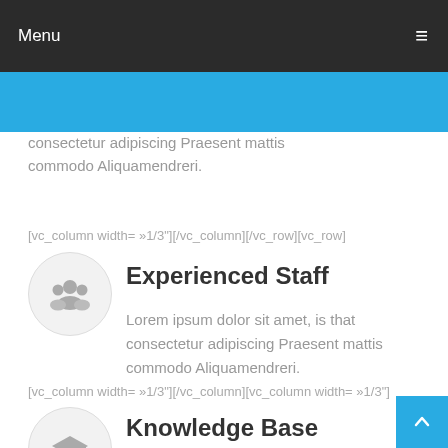Menu
consectetur adipiscing Praesent mattis commodo Aliquamendreri.
[vc_column width= »1/3"][/vc_column][/vc_row][vc_row]
Experienced Staff
Lorem ipsum dolor sit amet, is that consectetur adipiscing Praesent mattis commodo Aliquamendreri.
[vc_column width= »1/3"][/vc_column][vc_column width= »1/3"]
Knowledge Base
Lorem ipsum dolor sit amet, is that